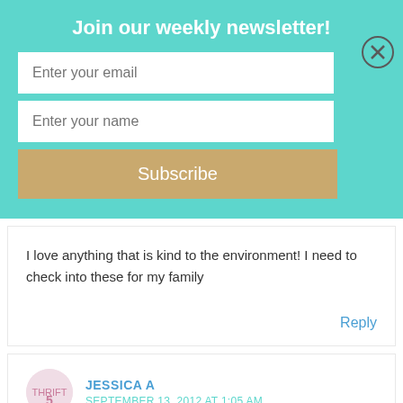Join our weekly newsletter!
Enter your email
Enter your name
Subscribe
I love anything that is kind to the environment! I need to check into these for my family
Reply
JESSICA A
SEPTEMBER 13, 2012 AT 1:05 AM
These look great! I'd love to try them with my boys.. They love